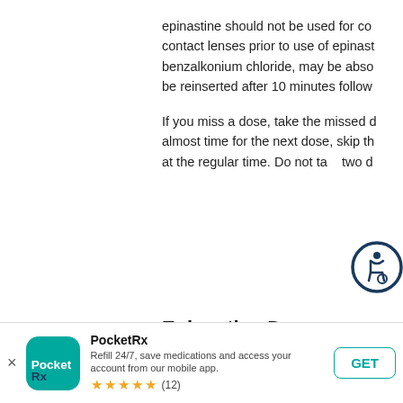epinastine should not be used for co... contact lenses prior to use of epinast... benzalkonium chloride, may be abso... be reinserted after 10 minutes follow...
If you miss a dose, take the missed d... almost time for the next dose, skip th... at the regular time. Do not take two d...
Epinastine Dosage
Take this medication exactly as pres... directions on your prescription label ...
[Figure (other): Accessibility icon — circular button with person/wheelchair symbol in dark blue outline]
PocketRx — Refill 24/7, save medications and access your account from our mobile app. ★★★★★ (12)